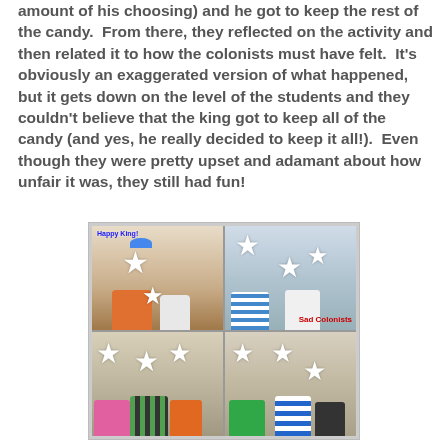amount of his choosing) and he got to keep the rest of the candy.  From there, they reflected on the activity and then related it to how the colonists must have felt.  It's obviously an exaggerated version of what happened, but it gets down on the level of the students and they couldn't believe that the king got to keep all of the candy (and yes, he really decided to keep it all!).  Even though they were pretty upset and adamant about how unfair it was, they still had fun!
[Figure (photo): Four-panel photo collage showing classroom activity. Top-left labeled 'Happy King!' shows a student in orange shirt holding candy with face redacted. Top-right labeled 'Sad Colonists' shows students with faces redacted. Bottom two panels show more students with faces redacted.]